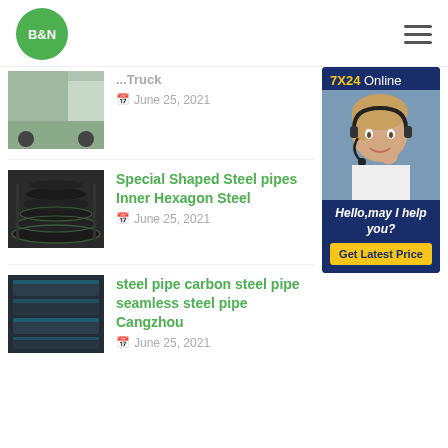B&N
Truck
June 25, 2021
[Figure (photo): 7X24 Online chat widget with customer service representative wearing headset; Hello, may I help you? Get Latest Price button]
[Figure (photo): Stack of black steel pipes]
Special Shaped Steel pipes Inner Hexagon Steel
June 25, 2021
[Figure (photo): Bundle of carbon steel pipes]
steel pipe carbon steel pipe seamless steel pipe Cangzhou
June 25, 2021